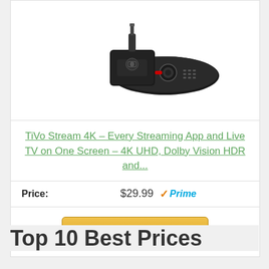[Figure (photo): TiVo Stream 4K device and remote control on white background]
TiVo Stream 4K – Every Streaming App and Live TV on One Screen – 4K UHD, Dolby Vision HDR and...
Price: $29.99 Prime
Buy On Amazon
Top 10 Best Prices